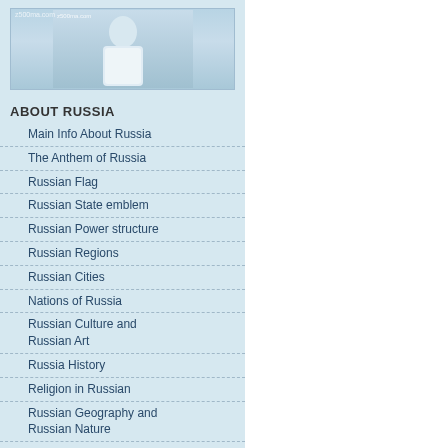[Figure (photo): Photo of a person in white clothing outdoors, with a watermark reading 'z500ma.com']
ABOUT RUSSIA
Main Info About Russia
The Anthem of Russia
Russian Flag
Russian State emblem
Russian Power structure
Russian Regions
Russian Cities
Nations of Russia
Russian Culture and Russian Art
Russia History
Religion in Russian
Russian Geography and Russian Nature
Learn Russian Fast
Russian Holidays
Russian Weather
Russian Names
Sizes in Russia
OUR SERVICES
AFA Gift &Services
Gift Shope
Consultation Advice Line
Dating Services